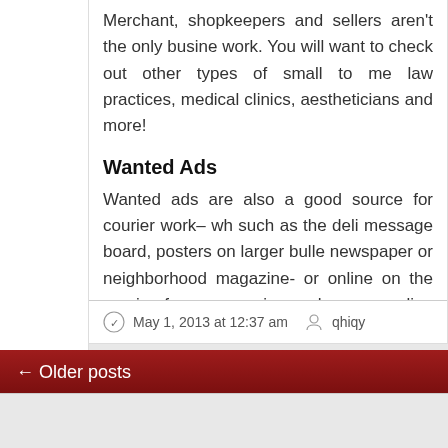Merchant, shopkeepers and sellers aren't the only business to work. You will want to check out other types of small to me law practices, medical clinics, aestheticians and more!
Wanted  Ads
Wanted ads are also a good source for courier work– wh such as the deli message board, posters on larger bulle newspaper or neighborhood magazine- or online on the courier forums, courier exchanges, online market and clas and the like.
These are just three sources– there are many more if you t
May 1, 2013 at 12:37 am   qhiqy
← Older posts